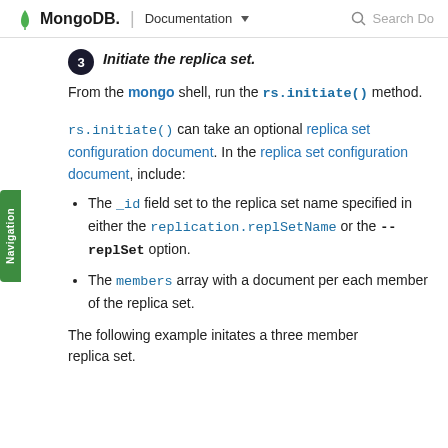MongoDB. | Documentation  Search Do
Initiate the replica set.
From the mongo shell, run the rs.initiate() method.
rs.initiate() can take an optional replica set configuration document. In the replica set configuration document, include:
The _id field set to the replica set name specified in either the replication.replSetName or the --replSet option.
The members array with a document per each member of the replica set.
The following example initates a three member replica set.